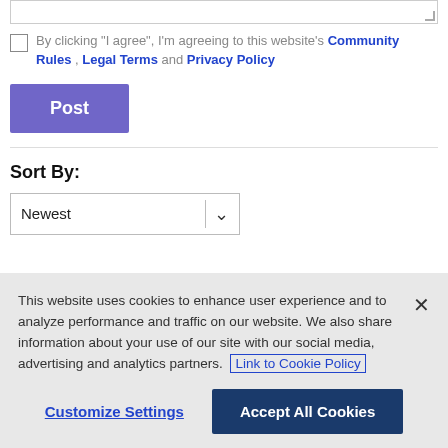By clicking "I agree", I'm agreeing to this website's Community Rules , Legal Terms and Privacy Policy
Post
Sort By:
Newest
This website uses cookies to enhance user experience and to analyze performance and traffic on our website. We also share information about your use of our site with our social media, advertising and analytics partners. Link to Cookie Policy
Customize Settings
Accept All Cookies